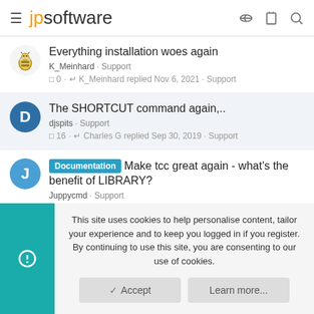jpsoftware
Everything installation woes again · K_Meinhard · Support · 0 · K_Meinhard replied Nov 6, 2021 · Support
The SHORTCUT command again,.. · djspits · Support · 16 · Charles G replied Sep 30, 2019 · Support
Documentation Make tcc great again - what's the benefit of LIBRARY? · Juppycmd · Support · 6 · AnrDaemon replied Dec 2, 2017 · Support
This site uses cookies to help personalise content, tailor your experience and to keep you logged in if you register. By continuing to use this site, you are consenting to our use of cookies.